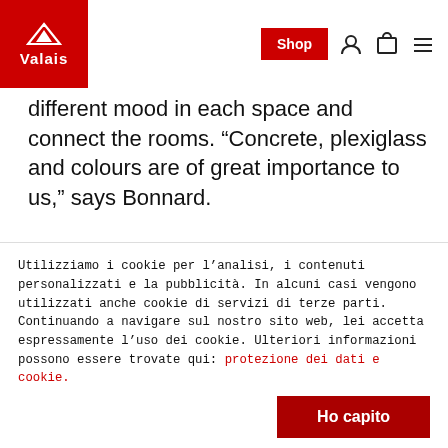Valais | Shop
different mood in each space and connect the rooms. “Concrete, plexiglass and colours are of great importance to us,” says Bonnard.
And how do they work together? Who is more dominant? They both laugh. “Many architect couples and partners work by cultivating confrontation. We are quite different – it’s more of a symbiosis,” explains Denis Woeffray. First,
Utilizziamo i cookie per l’analisi, i contenuti personalizzati e la pubblicità. In alcuni casi vengono utilizzati anche cookie di servizi di terze parti. Continuando a navigare sul nostro sito web, lei accetta espressamente l’uso dei cookie. Ulteriori informazioni possono essere trovate qui: protezione dei dati e cookie.
Ho capito